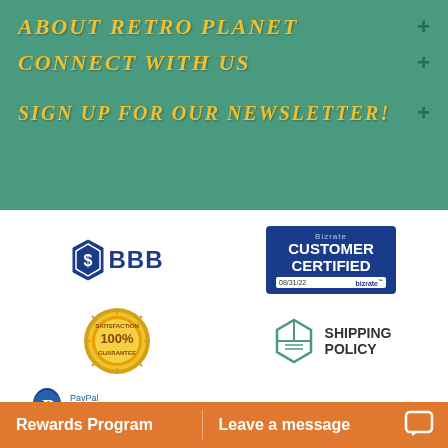ABOUT RETRO PLANET +
CONNECT WITH US +
SIGN UP FOR OUR NEWSLETTER! +
[Figure (logo): BBB Better Business Bureau logo]
[Figure (logo): Bizrate Customer Certified badge 08/31/22]
[Figure (logo): 100% Satisfaction Guarantee seal]
[Figure (logo): Shipping Policy icon with text]
[Figure (logo): PayPal Credit logo]
Rewards Program    Leave a message